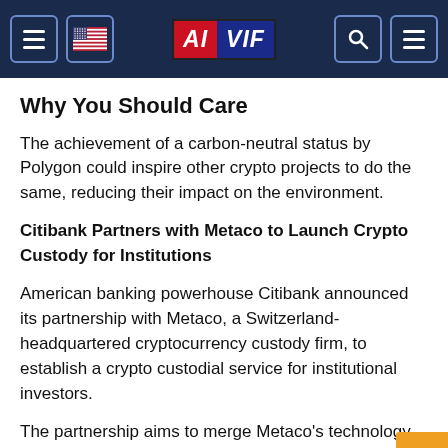AIVIF navigation header
Why You Should Care
The achievement of a carbon-neutral status by Polygon could inspire other crypto projects to do the same, reducing their impact on the environment.
Citibank Partners with Metaco to Launch Crypto Custody for Institutions
American banking powerhouse Citibank announced its partnership with Metaco, a Switzerland-headquartered cryptocurrency custody firm, to establish a crypto custodial service for institutional investors.
The partnership aims to merge Metaco's technology and digital solutions with Citibank's